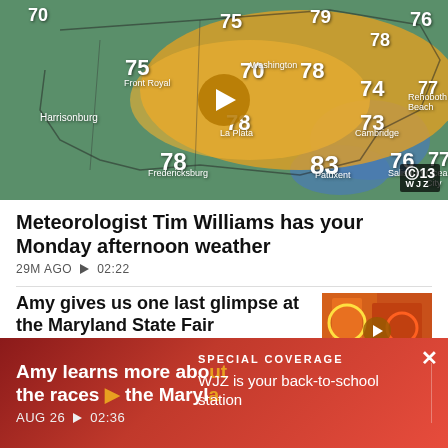[Figure (screenshot): Weather map showing Maryland region with temperature readings: 70, 75, 79, 78, 76, 75, 70, 78, 74, 77, 78, 73, 78, 83, 76, 77. CBS13 WJZ logo in bottom right. Play button overlay in center.]
Meteorologist Tim Williams has your Monday afternoon weather
29M AGO  ▶ 02:22
Amy gives us one last glimpse at the Maryland State Fair
[Figure (screenshot): Thumbnail of Maryland State Fair with colorful rides. Caption: Celebrating The Opening Weekend Of The 34th Maryland State Fair]
AUG 26  ▶ 01:17
Amy learns more about the races at the Maryl...
SPECIAL COVERAGE
WJZ is your back-to-school station
AUG 26  ▶ 02:36